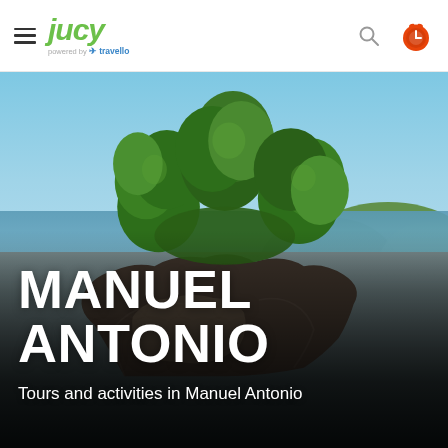JUCY — powered by travello
[Figure (photo): Coastal scene at Manuel Antonio, Costa Rica. A large rock formation covered with lush green tropical trees rises from a dark sandy beach, with blue ocean water and green hills in the background under a clear blue sky. The text MANUEL ANTONIO and Tours and activities in Manuel Antonio is overlaid on the lower portion of the image.]
MANUEL ANTONIO
Tours and activities in Manuel Antonio